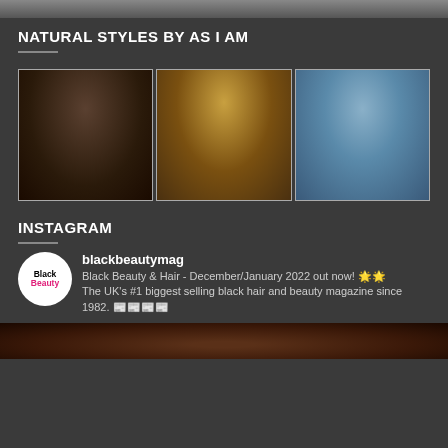[Figure (photo): Top strip showing partial fashion photos of models]
NATURAL STYLES BY AS I AM
[Figure (photo): Three fashion/beauty photos side by side: left - woman in black outfit with afro hair; center - woman with gold jewelry and accessories; right - woman in blue dress with natural curly hair]
INSTAGRAM
[Figure (logo): Black Beauty magazine circular logo]
blackbeautymag
Black Beauty & Hair - December/January 2022 out now! 🌟🌟 The UK's #1 biggest selling black hair and beauty magazine since 1982. 📰📰📰📰
[Figure (photo): Partial bottom photo showing hair/beauty image]